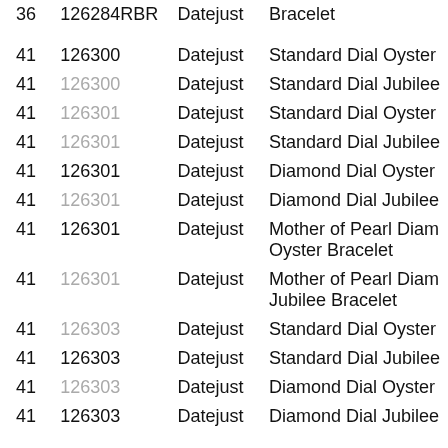| Size | Model | Collection | Description |
| --- | --- | --- | --- |
| 36 | 126284RBR | Datejust | Bracelet |
| 41 | 126300 | Datejust | Standard Dial Oyster |
| 41 | 126300 | Datejust | Standard Dial Jubilee |
| 41 | 126301 | Datejust | Standard Dial Oyster |
| 41 | 126301 | Datejust | Standard Dial Jubilee |
| 41 | 126301 | Datejust | Diamond Dial Oyster |
| 41 | 126301 | Datejust | Diamond Dial Jubilee |
| 41 | 126301 | Datejust | Mother of Pearl Diamond Oyster Bracelet |
| 41 | 126301 | Datejust | Mother of Pearl Diamond Jubilee Bracelet |
| 41 | 126303 | Datejust | Standard Dial Oyster |
| 41 | 126303 | Datejust | Standard Dial Jubilee |
| 41 | 126303 | Datejust | Diamond Dial Oyster |
| 41 | 126303 | Datejust | Diamond Dial Jubilee |
| 41 | 126303 | Datejust | Mother of Pearl Diamond... |